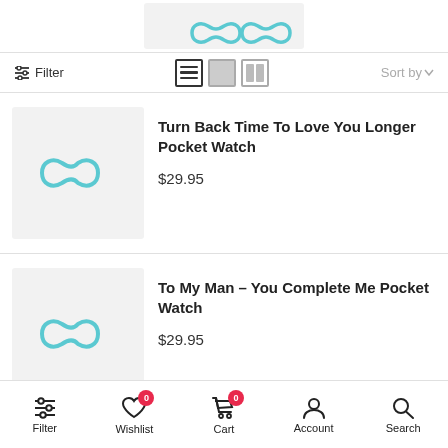[Figure (screenshot): Partial product image placeholder at top of page showing infinity-loop logo on light gray background]
Filter | view icons | Sort by
[Figure (photo): Product image placeholder with teal infinity loop icon on light gray background - Turn Back Time To Love You Longer Pocket Watch]
Turn Back Time To Love You Longer Pocket Watch
$29.95
[Figure (photo): Product image placeholder with teal infinity loop icon on light gray background - To My Man - You Complete Me Pocket Watch]
To My Man - You Complete Me Pocket Watch
$29.95
Filter | Wishlist 0 | Cart 0 | Account | Search